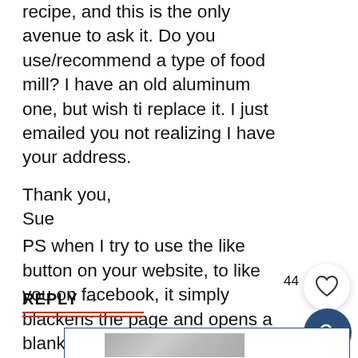recipe, and this is the only avenue to ask it. Do you use/recommend a type of food mill? I have an old aluminum one, but wish ti replace it. I just emailed you not realizing I have your address.

Thank you,
Sue
PS when I try to use the like button on your website, to like you on facebook, it simply blackens the page and opens a blank white oblong box. I will go to fb and look for you there, but I thought you might like to know
44
REPLY →
[Figure (photo): Partially visible photo of a person at the bottom of the page, inside a blue-bordered box]